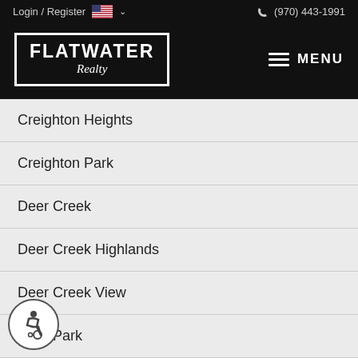Login / Register  (970) 443-1991
[Figure (logo): Flatwater Realty logo in white text inside a white border rectangle on black background, with hamburger menu icon and MENU text]
Creighton Heights
Creighton Park
Deer Creek
Deer Creek Highlands
Deer Creek View
Deer Park
Deer Ridge
Derwood
[Figure (illustration): Accessibility wheelchair user icon in circular badge, grey border on white background, bottom left corner]